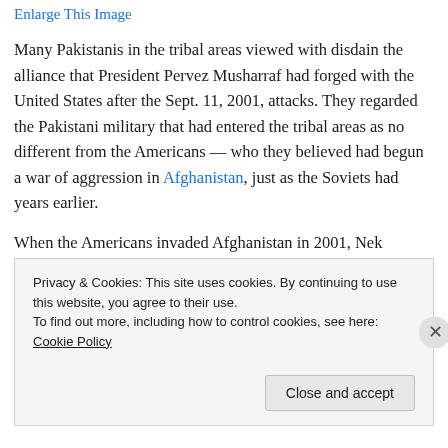Enlarge This Image
Many Pakistanis in the tribal areas viewed with disdain the alliance that President Pervez Musharraf had forged with the United States after the Sept. 11, 2001, attacks. They regarded the Pakistani military that had entered the tribal areas as no different from the Americans — who they believed had begun a war of aggression in Afghanistan, just as the Soviets had years earlier.
When the Americans invaded Afghanistan in 2001, Nek
Privacy & Cookies: This site uses cookies. By continuing to use this website, you agree to their use.
To find out more, including how to control cookies, see here: Cookie Policy